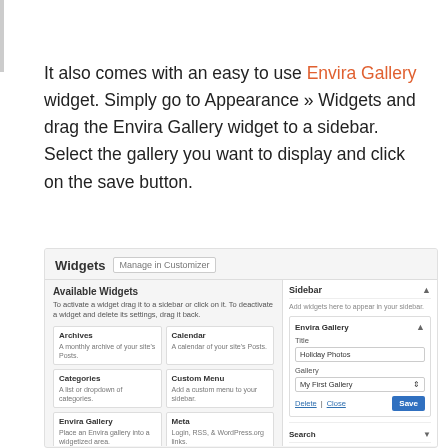It also comes with an easy to use Envira Gallery widget. Simply go to Appearance » Widgets and drag the Envira Gallery widget to a sidebar. Select the gallery you want to display and click on the save button.
[Figure (screenshot): WordPress Widgets admin screen showing Available Widgets panel on the left (Archives, Calendar, Categories, Custom Menu, Envira Gallery, Meta, Pages, Recent Comments widgets listed) and a Sidebar panel on the right with Envira Gallery widget expanded showing Title field with 'Holiday Photos', Gallery dropdown with 'My First Gallery', and a Save button. Search and Text widgets also appear below.]